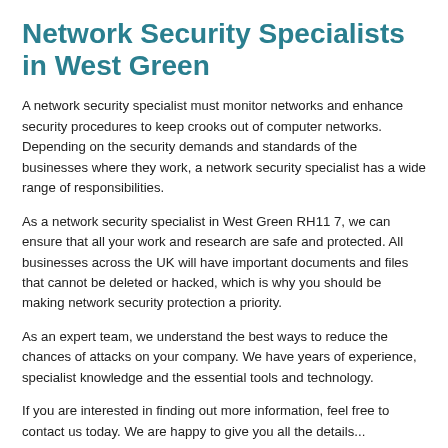Network Security Specialists in West Green
A network security specialist must monitor networks and enhance security procedures to keep crooks out of computer networks. Depending on the security demands and standards of the businesses where they work, a network security specialist has a wide range of responsibilities.
As a network security specialist in West Green RH11 7, we can ensure that all your work and research are safe and protected. All businesses across the UK will have important documents and files that cannot be deleted or hacked, which is why you should be making network security protection a priority.
As an expert team, we understand the best ways to reduce the chances of attacks on your company. We have years of experience, specialist knowledge and the essential tools and technology.
If you are interested in finding out more information, feel free to contact us today. We are happy to give you all the details...